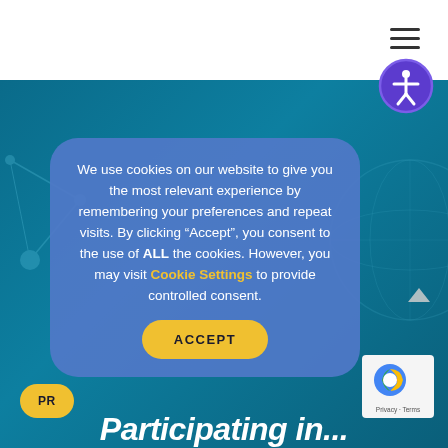[Figure (screenshot): White top navigation bar with hamburger menu icon (three horizontal lines) on the right side.]
[Figure (illustration): Accessibility icon: person figure inside a circle with blue border, purple/blue background, on the top-right overlapping the teal and white sections.]
We use cookies on our website to give you the most relevant experience by remembering your preferences and repeat visits. By clicking “Accept”, you consent to the use of ALL the cookies. However, you may visit Cookie Settings to provide controlled consent.
ACCEPT
PR…
Participating in…
[Figure (logo): Google reCAPTCHA badge in lower right: reCAPTCHA logo with Privacy and Terms links.]